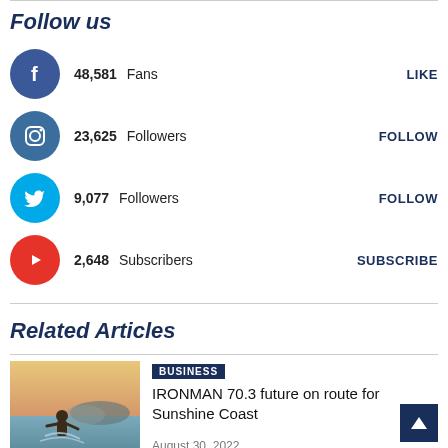Follow us
48,581 Fans  LIKE
23,625 Followers  FOLLOW
9,077 Followers  FOLLOW
2,648 Subscribers  SUBSCRIBE
Related Articles
[Figure (photo): Person wading through ocean water at sunset with mountains in background]
BUSINESS
IRONMAN 70.3 future on route for Sunshine Coast
August 30, 2022